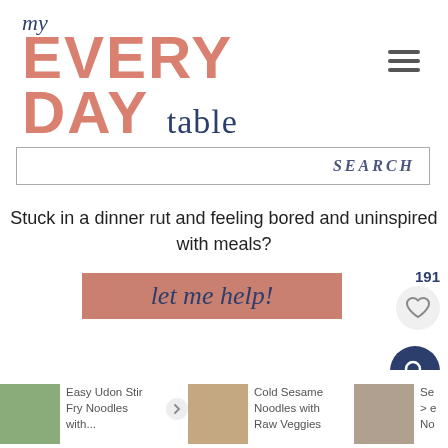[Figure (logo): My Everyday Table logo with 'my' in cursive dark blue, 'EVERY DAY' in large salmon/pink bold sans-serif, and 'table' in dark blue serif font]
[Figure (infographic): Hamburger/menu icon with three horizontal lines]
[Figure (infographic): Search bar with placeholder text SEARCH in italic blue]
Stuck in a dinner rut and feeling bored and uninspired with meals?
[Figure (infographic): Button with salmon/terracotta background and cursive dark blue text 'let me help!']
191
[Figure (infographic): Heart icon button in light gray circle]
[Figure (infographic): Search magnifying glass icon in dark navy circle]
Easy Udon Stir Fry Noodles with...
Cold Sesame Noodles with Raw Veggies
Se e No